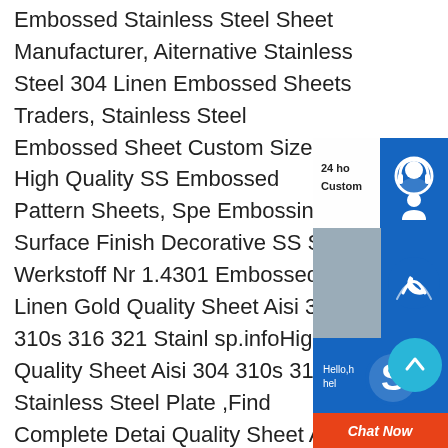Embossed Stainless Steel Sheet Manufacturer, Aiternative Stainless Steel 304 Linen Embossed Sheets Traders, Stainless Steel Embossed Sheet Custom Size, High Quality SS Embossed Pattern Sheets, Spe Embossing Surface Finish Decorative SS S Werkstoff Nr 1.4301 Embossed Linen Gold Quality Sheet Aisi 304 310s 316 321 Stainl sp.infoHigh Quality Sheet Aisi 304 310s 31 Stainless Steel Plate ,Find Complete Detai Quality Sheet Aisi 304 310s 316 321 Stainl Plate,Stainless Steel Plate Stainless Steel 304 Plate 316 Stainless Steel Plate 310s Stainless Steel Sheet Plate,Stainless Steel Dinner Plate 904l Stainless Steel Plate 321 Stainless Steel Checkered Plate Ss316 Stainless Steel Plate Price Pestainless steel embossed
[Figure (screenshot): Live chat widget overlay with three sections: top section showing '24h Customer' label and blue headset icon, middle section showing a phone/call icon on blue background with a woman's face photo, bottom section showing Skype icon on blue background with 'Hello, help' text and an orange 'Chat Now' button]